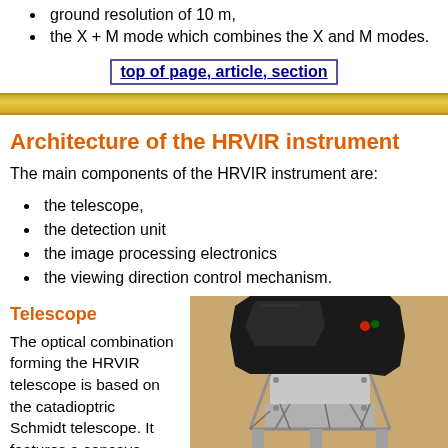ground resolution of 10 m,
the X + M mode which combines the X and M modes.
top of page, article, section
Architecture of the HRVIR instrument
The main components of the HRVIR instrument are:
the telescope,
the detection unit
the image processing electronics
the viewing direction control mechanism.
Telescope
The optical combination forming the HRVIR telescope is based on the catadioptric Schmidt telescope. It features a concave mirror which converts the incoming
[Figure (photo): Photograph of the HRVIR instrument telescope assembly, showing a dark angular structure on top of a metallic framework/scaffolding base, photographed against a beige background.]